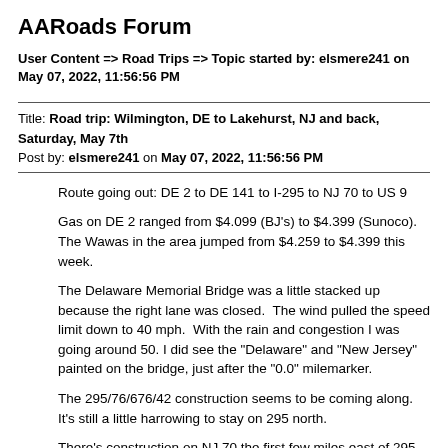AARoads Forum
User Content => Road Trips => Topic started by: elsmere241 on May 07, 2022, 11:56:56 PM
Title: Road trip: Wilmington, DE to Lakehurst, NJ and back, Saturday, May 7th
Post by: elsmere241 on May 07, 2022, 11:56:56 PM
Route going out: DE 2 to DE 141 to I-295 to NJ 70 to US 9
Gas on DE 2 ranged from $4.099 (BJ's) to $4.399 (Sunoco). The Wawas in the area jumped from $4.259 to $4.399 this week.
The Delaware Memorial Bridge was a little stacked up because the right lane was closed.  The wind pulled the speed limit down to 40 mph.  With the rain and congestion I was going around 50. I did see the "Delaware" and "New Jersey" painted on the bridge, just after the "0.0" milemarker.
The 295/76/676/42 construction seems to be coming along. It's still a little harrowing to stay on 295 north.
There's construction on NJ 70 the first few miles east of 295. They may be widening it.  I noticed the shopping centers were set way back from the road, as if the state took right-of-way in